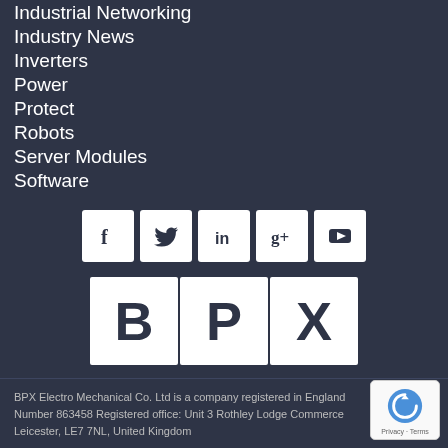Industrial Networking
Industry News
Inverters
Power
Protect
Robots
Server Modules
Software
[Figure (logo): Social media icons row: Facebook, Twitter, LinkedIn, Google+, YouTube]
[Figure (logo): BPX logo — three white tiles with bold letters B, P, X on dark background]
BPX Electro Mechanical Co. Ltd is a company registered in England Number 863458 Registered office: Unit 3 Rothley Lodge Commerce Leicester, LE7 7NL, United Kingdom